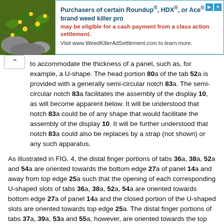[Figure (screenshot): Advertisement banner for WeedKillerAdSettlement.com showing plant image on left and text about Roundup, HDX, or Ace brand weed killer class action settlement on right.]
to accommodate the thickness of a panel, such as, for example, a U-shape. The head portion 80a of the tab 52a is provided with a generally semi-circular notch 83a. The semi-circular notch 83a facilitates the assembly of the display 10, as will become apparent below. It will be understood that notch 83a could be of any shape that would facilitate the assembly of the display 10. It will be further understood that notch 83a could also be replaces by a strap (not shown) or any such apparatus.
As illustrated in FIG. 4, the distal finger portions of tabs 36a, 38a, 52a and 54a are oriented towards the bottom edge 27a of panel 14a and away from top edge 25a such that the opening of each corresponding U-shaped slots of tabs 36a, 38a, 52a, 54a are oriented towards bottom edge 27a of panel 14a and the closed portion of the U-shaped slots are oriented towards top edge 25a. The distal finger portions of tabs 37a, 39a, 53a and 55a, however, are oriented towards the top edge 25a of panel 14a and away from bottom edge 27a such that the opening of each corresponding U-shaped slots of tabs 37a, 39a, 53a and 55a are oriented towards top edge 25a of panel 14a and the closed portions of the U-shaped slots are oriented towards bottom edge 27a. The mirror image orientation of tabs 36a and 37a, 52a and 53a, 38a and 39a, as well as 54a and 55a allows, in connection with the configuration of the locking assembly, the stabilization